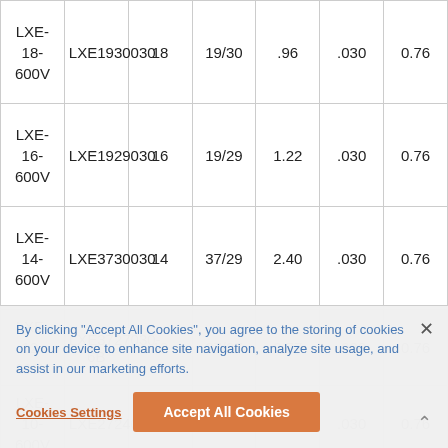| Model | Part No. | Circuits | Strands/Gauge | Area (in²) | Ins. Thk. | 0.76 |
| --- | --- | --- | --- | --- | --- | --- |
| LXE-18-600V | LXE1930030 | 18 | 19/30 | .96 | .030 | 0.76 |
| LXE-16-600V | LXE1929030 | 16 | 19/29 | 1.22 | .030 | 0.76 |
| LXE-14-600V | LXE3730030 | 14 | 37/29 | 2.40 | .030 | 0.76 |
| LXE-12-600V | LXE3727030-6B | 12 | 37/27 | 3.77 | .030 | 0.76 |
| LXE-10-600V | LXE2724030 | 10 | 27/24 | 5.53 | .030 | 0.76 |
By clicking "Accept All Cookies", you agree to the storing of cookies on your device to enhance site navigation, analyze site usage, and assist in our marketing efforts.